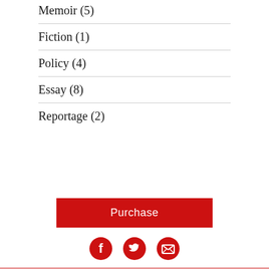Memoir (5)
Fiction (1)
Policy (4)
Essay (8)
Reportage (2)
Purchase
[Figure (infographic): Three red circular social media icons: Facebook (f), Twitter (bird), and an email/envelope icon with X]